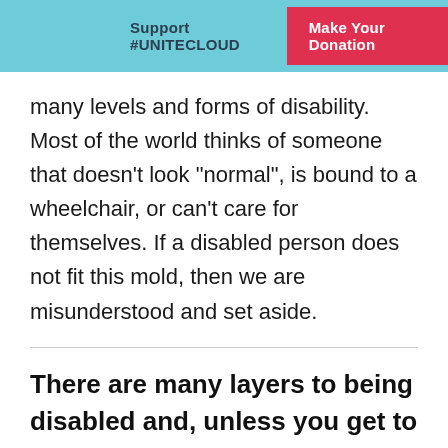Support #UNITECLOUD   Make Your Donation
many levels and forms of disability. Most of the world thinks of someone that doesn’t look “normal”, is bound to a wheelchair, or can’t care for themselves. If a disabled person does not fit this mold, then we are misunderstood and set aside.
There are many layers to being disabled and, unless you get to know them, you may never understand.